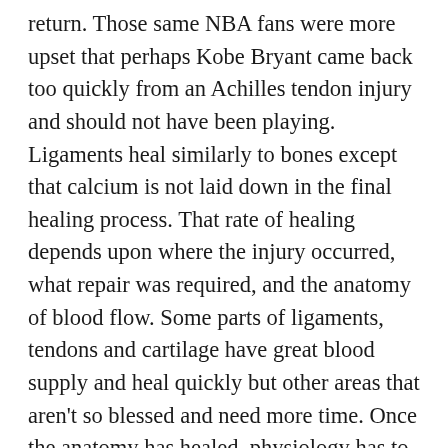return. Those same NBA fans were more upset that perhaps Kobe Bryant came back too quickly from an Achilles tendon injury and should not have been playing. Ligaments heal similarly to bones except that calcium is not laid down in the final healing process. That rate of healing depends upon where the injury occurred, what repair was required, and the anatomy of blood flow. Some parts of ligaments, tendons and cartilage have great blood supply and heal quickly but other areas that aren't so blessed and need more time. Once the anatomy has healed, physiology has to be repaired. Physical therapy and rehabilitation returns range of motion and muscle strength and only when those are maximized can the player consider returning to practice. There is one final part that needs fixing and that is proprioception. The player's brain needs to figure out where the injured part is in relation to the world and to subconsciously trust the bone or joint to move instinctively when